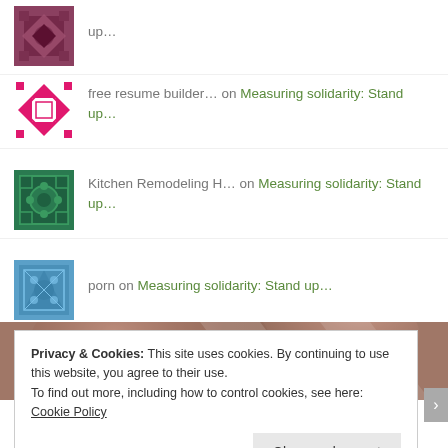up...
free resume builder... on Measuring solidarity: Stand up...
Kitchen Remodeling H... on Measuring solidarity: Stand up...
porn on Measuring solidarity: Stand up...
[Figure (photo): Close-up photo of a person's head/hair from above, brownish tones]
Privacy & Cookies: This site uses cookies. By continuing to use this website, you agree to their use. To find out more, including how to control cookies, see here: Cookie Policy
Close and accept